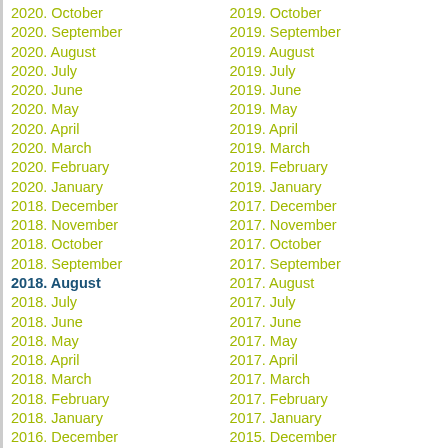2020. October
2019. October
2020. September
2019. September
2020. August
2019. August
2020. July
2019. July
2020. June
2019. June
2020. May
2019. May
2020. April
2019. April
2020. March
2019. March
2020. February
2019. February
2020. January
2019. January
2018. December
2017. December
2018. November
2017. November
2018. October
2017. October
2018. September
2017. September
2018. August
2017. August
2018. July
2017. July
2018. June
2017. June
2018. May
2017. May
2018. April
2017. April
2018. March
2017. March
2018. February
2017. February
2018. January
2017. January
2016. December
2015. December
2016. November
2015. November
2016. October
2015. October